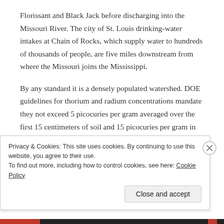Florissant and Black Jack before discharging into the Missouri River. The city of St. Louis drinking-water intakes at Chain of Rocks, which supply water to hundreds of thousands of people, are five miles downstream from where the Missouri joins the Mississippi.
By any standard it is a densely populated watershed. DOE guidelines for thorium and radium concentrations mandate they not exceed 5 picocuries per gram averaged over the first 15 centimeters of soil and 15 picocuries per gram in subsequent soil layers of the
Privacy & Cookies: This site uses cookies. By continuing to use this website, you agree to their use.
To find out more, including how to control cookies, see here: Cookie Policy
Close and accept